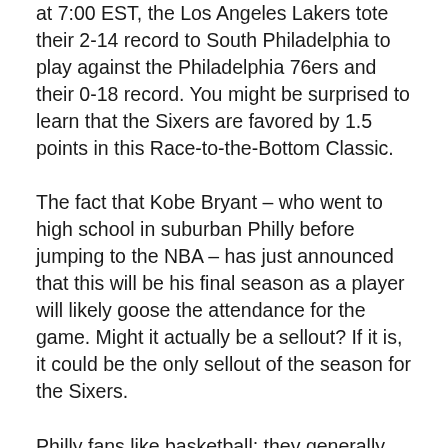at 7:00 EST, the Los Angeles Lakers tote their 2-14 record to South Philadelphia to play against the Philadelphia 76ers and their 0-18 record. You might be surprised to learn that the Sixers are favored by 1.5 points in this Race-to-the-Bottom Classic.
The fact that Kobe Bryant – who went to high school in suburban Philly before jumping to the NBA – has just announced that this will be his final season as a player will likely goose the attendance for the game. Might it actually be a sellout? If it is, it could be the only sellout of the season for the Sixers.
Philly fans like basketball; they generally support teams well even if those teams are “not fully functional”. Nevertheless, the Sixers of the past few years have been well below the descriptor of “not fully functional”; for the past several years, the Sixers have been “painfully pathetic”. Most folks identify the arrival